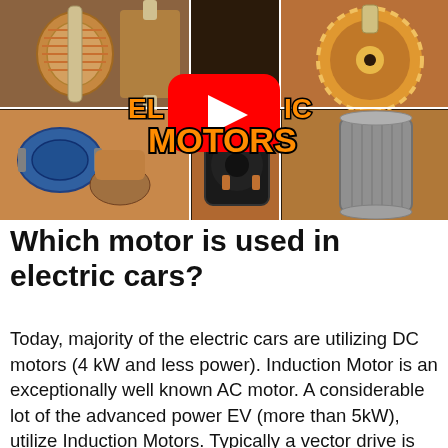[Figure (screenshot): YouTube video thumbnail showing a collage of electric motor components (coils, rotors, stators, commutators on wooden backgrounds) with a YouTube play button overlay and bold text 'ELECTRIC MOTORS' in orange with black outline]
Which motor is used in electric cars?
Today, majority of the electric cars are utilizing DC motors (4 kW and less power). Induction Motor is an exceptionally well known AC motor. A considerable lot of the advanced power EV (more than 5kW), utilize Induction Motors. Typically a vector drive is